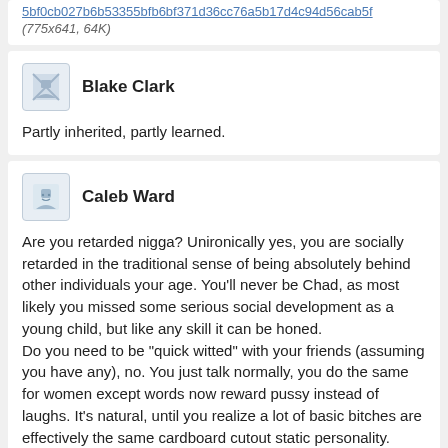5bf0cb027b6b53355bfb6bf371d36cc76a5b17d4c94d56cab5f (775x641, 64K)
Blake Clark
Partly inherited, partly learned.
Caleb Ward
Are you retarded nigga? Unironically yes, you are socially retarded in the traditional sense of being absolutely behind other individuals your age. You'll never be Chad, as most likely you missed some serious social development as a young child, but like any skill it can be honed.
Do you need to be "quick witted" with your friends (assuming you have any), no. You just talk normally, you do the same for women except words now reward pussy instead of laughs. It's natural, until you realize a lot of basic bitches are effectively the same cardboard cutout static personality. Then you'll get a lot of déjà vu and become shellshocked for a while until you decide to go